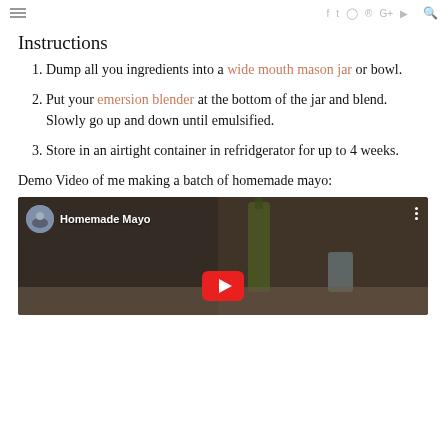≡  f  t  instagram  pinterest  G+  youtube  🔍
Instructions
Dump all you ingredients into a wide mouth mason jar or bowl.
Put your emersion blender at the bottom of the jar and blend. Slowly go up and down until emulsified.
Store in an airtight container in refridgerator for up to 4 weeks.
Demo Video of me making a batch of homemade mayo:
[Figure (screenshot): YouTube video thumbnail titled 'Homemade Mayo' showing two women in circular avatar, with a dark kitchen scene in the background including a bottle, and a YouTube play button at the bottom center.]